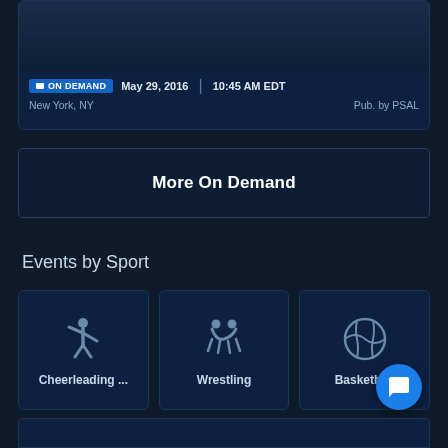[Figure (screenshot): On Demand video card showing date May 29, 2016 at 10:45 AM EDT, location New York NY, published by PSAL]
ON DEMAND   May 29, 2016 | 10:45 AM EDT
New York, NY   Pub. by PSAL
More On Demand
Events by Sport
[Figure (infographic): Sport category grid with 6 sport icons: Cheerleading..., Wrestling, Basketball, Soccer, Football, Volleyball]
Cheerleading ...
Wrestling
Basketball
Soccer
Football
Volleyball